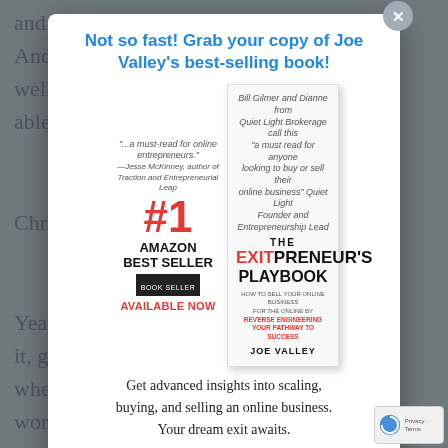and a n... to date. And tha... busy as well. So... ng able to
Chris Yo...
Yeah, to... of take it, I gues... l and where ... e're working... allows us to be... ly well. That's n... o be helpful... e you know w... g'' you me... e mistake...
Not so fast! Grab your copy of Joe Valley's best-selling book!
[Figure (illustration): Book cover of 'The Exitpreneur's Playbook' by Joe Valley, shown alongside a #1 Amazon Best Seller badge and 'Available Now' label]
Get advanced insights into scaling, buying, and selling an online business. Your dream exit awaits.
Get My Copy
I don't want to reverse engineer success.